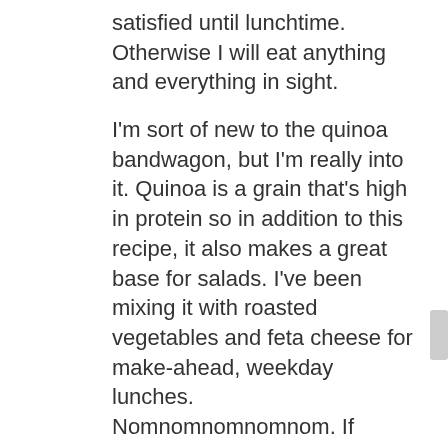satisfied until lunchtime. Otherwise I will eat anything and everything in sight.
I'm sort of new to the quinoa bandwagon, but I'm really into it. Quinoa is a grain that's high in protein so in addition to this recipe, it also makes a great base for salads. I've been mixing it with roasted vegetables and feta cheese for make-ahead, weekday lunches. Nomnomnomnomnom. If you've never cooked quinoa before, don't be intimidated! If you can make rice or couscous, you can make quinoa.
I wanted this recipe to be thick and hearty so I used a 1:1 ratio of milk to quinoa instead of the more commonly seen 2:1 ratio. This recipe makes two generous sized bowls but you can easily double or triple it to feed a larger crowd. Don't limit yourself to the ingredients I have listed. Get creative with your mix-ins and use